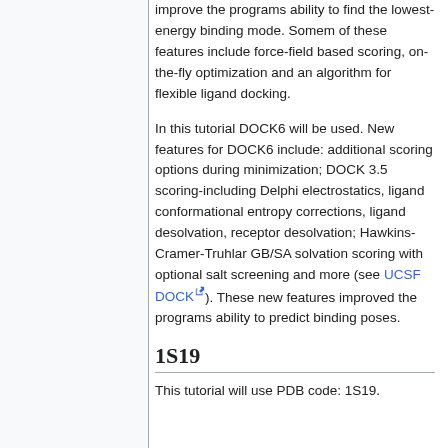improve the programs ability to find the lowest-energy binding mode. Somem of these features include force-field based scoring, on-the-fly optimization and an algorithm for flexible ligand docking.
In this tutorial DOCK6 will be used. New features for DOCK6 include: additional scoring options during minimization; DOCK 3.5 scoring-including Delphi electrostatics, ligand conformational entropy corrections, ligand desolvation, receptor desolvation; Hawkins-Cramer-Truhlar GB/SA solvation scoring with optional salt screening and more (see UCSF DOCK). These new features improved the programs ability to predict binding poses.
1S19
This tutorial will use PDB code: 1S19.